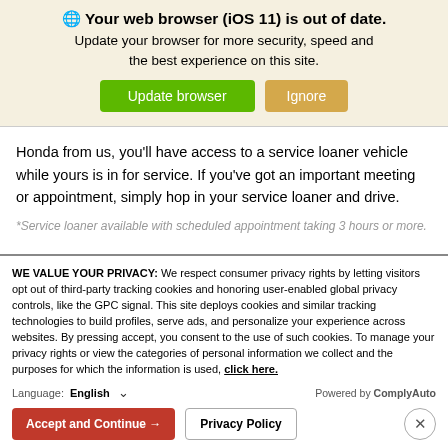🌐 Your web browser (iOS 11) is out of date. Update your browser for more security, speed and the best experience on this site.
Honda from us, you'll have access to a service loaner vehicle while yours is in for service. If you've got an important meeting or appointment, simply hop in your service loaner and drive.
*Service loaner available with scheduled appointment taking 3 hours or more.
WE VALUE YOUR PRIVACY: We respect consumer privacy rights by letting visitors opt out of third-party tracking cookies and honoring user-enabled global privacy controls, like the GPC signal. This site deploys cookies and similar tracking technologies to build profiles, serve ads, and personalize your experience across websites. By pressing accept, you consent to the use of such cookies. To manage your privacy rights or view the categories of personal information we collect and the purposes for which the information is used, click here.
Language: English  ∨  Powered by ComplyAuto